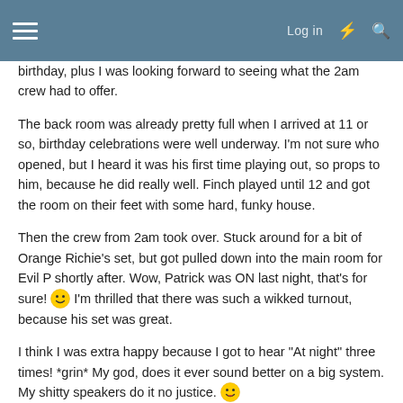Log in
birthday, plus I was looking forward to seeing what the 2am crew had to offer.
The back room was already pretty full when I arrived at 11 or so, birthday celebrations were well underway. I'm not sure who opened, but I heard it was his first time playing out, so props to him, because he did really well. Finch played until 12 and got the room on their feet with some hard, funky house.
Then the crew from 2am took over. Stuck around for a bit of Orange Richie's set, but got pulled down into the main room for Evil P shortly after. Wow, Patrick was ON last night, that's for sure! 😀 I'm thrilled that there was such a wikked turnout, because his set was great.
I think I was extra happy because I got to hear "At night" three times! *grin* My god, does it ever sound better on a big system. My shitty speakers do it no justice. 😀